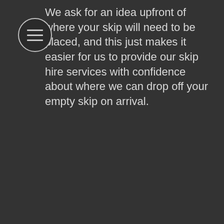[Figure (other): Circular menu icon with three horizontal lines (hamburger menu) on a dark circular background with a light border]
We ask for an idea upfront of where your skip will need to be placed, and this just makes it easier for us to provide our skip hire services with confidence about where we can drop off your empty skip on arrival.